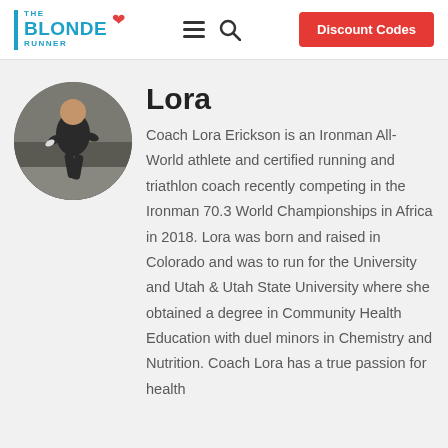THE BLONDE RUNNER | Discount Codes
[Figure (photo): Circular profile photo of Coach Lora Erickson running outdoors in dark athletic wear]
Lora
Coach Lora Erickson is an Ironman All-World athlete and certified running and triathlon coach recently competing in the Ironman 70.3 World Championships in Africa in 2018. Lora was born and raised in Colorado and was to run for the University and Utah & Utah State University where she obtained a degree in Community Health Education with duel minors in Chemistry and Nutrition. Coach Lora has a true passion for health